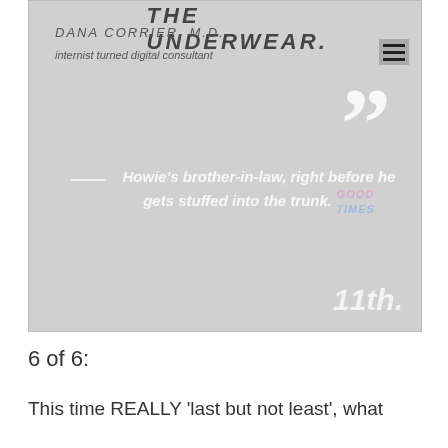[Figure (screenshot): Screenshot of a blog/website header for 'The Underwear' by Dana Corrier, MD, described as 'internist turned digital consultant'. Contains a large close-quote mark graphic, a pull quote attributed to Howie's brother-in-law about being stuffed into a trunk, with a 'Good Times' sticker graphic, and '11th.' watermark in bottom right.]
6 of 6:
This time REALLY 'last but not least', what